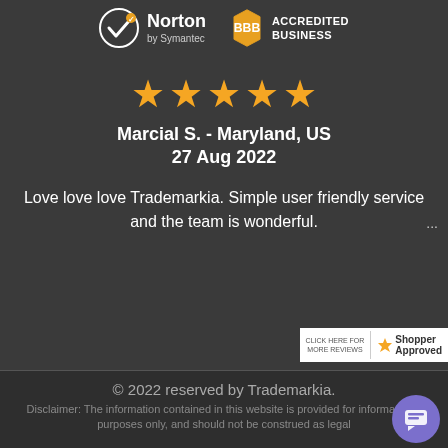[Figure (logo): Norton by Symantec logo with white checkmark in circle and BBB Accredited Business logo]
[Figure (infographic): Five orange star rating]
Marcial S.  - Maryland, US
27 Aug 2022
Love love love Trademarkia. Simple user friendly service and the team is wonderful.
[Figure (logo): Shopper Approved badge with star icon]
© 2022 reserved by Trademarkia.
Disclaimer: The information contained in this website is provided for informational purposes only, and should not be construed as legal